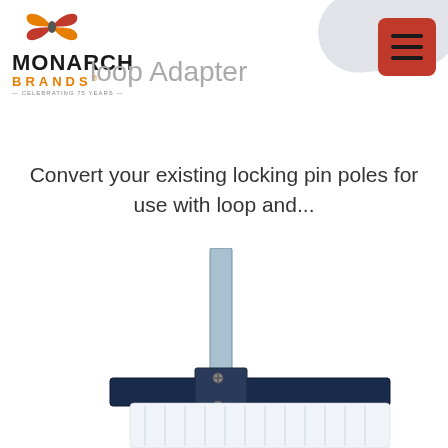[Figure (logo): Monarch Brands logo with orange/red butterfly icon, 'MONARCH' in black bold, 'BRANDS' in orange, and 'CELEBRATING 75 YEARS' tagline]
Loop Adapter
Convert your existing locking pin poles for use with loop and...
[Figure (photo): Product photo of a loop mop adapter — a chrome/silver vertical pole connected to a horizontal white mop head frame with a dark blue/black mounting bracket and visible screws]